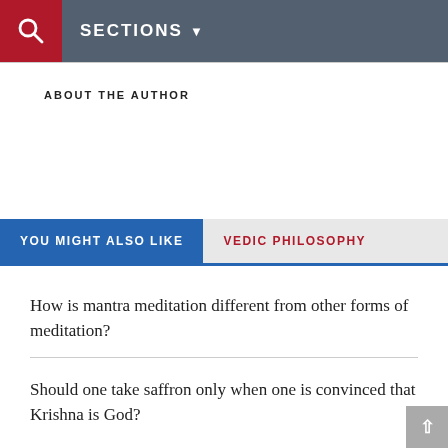SECTIONS
ABOUT THE AUTHOR
YOU MIGHT ALSO LIKE
VEDIC PHILOSOPHY
How is mantra meditation different from other forms of meditation?
Should one take saffron only when one is convinced that Krishna is God?